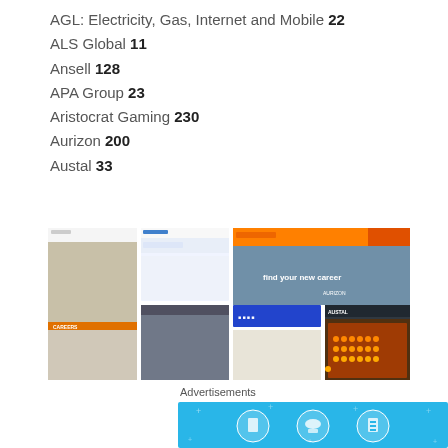AGL: Electricity, Gas, Internet and Mobile 22
ALS Global 11
Ansell 128
APA Group 23
Aristocrat Gaming 230
Aurizon 200
Austal 33
[Figure (screenshot): Grid of 6 corporate website screenshots showing careers pages for AGL, Ansell, Aurizon, and Austal companies]
Advertisements
[Figure (illustration): Blue advertisement banner with circular icons representing products or services]